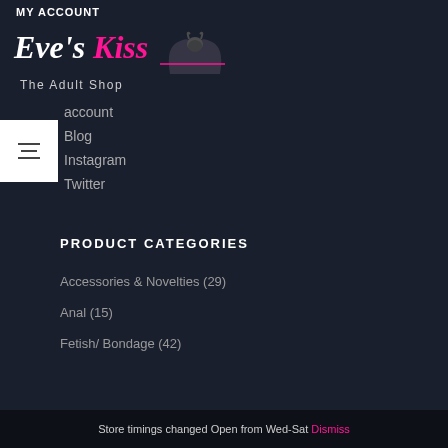MY ACCOUNT
[Figure (logo): Eve's Kiss The Adult Shop logo with devil silhouette]
account
Blog
Instagram
Twitter
PRODUCT CATEGORIES
Accessories & Novelties (29)
Anal (15)
Fetish/ Bondage (42)
Store timings changed Open from Wed-Sat Dismiss